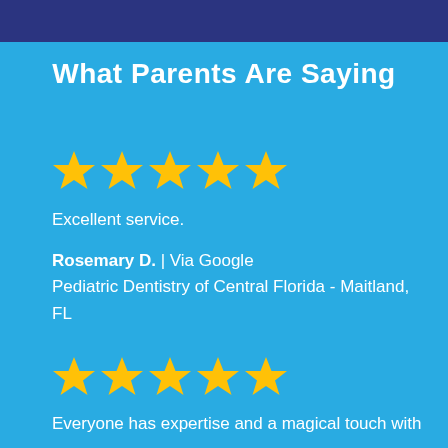What Parents Are Saying
[Figure (other): Five gold star rating icons]
Excellent service.
Rosemary D. | Via Google
Pediatric Dentistry of Central Florida - Maitland, FL
[Figure (other): Five gold star rating icons]
Everyone has expertise and a magical touch with